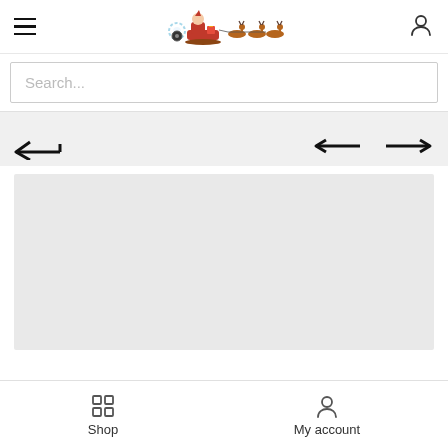[Figure (screenshot): Mobile e-commerce website screenshot showing header with hamburger menu, Santa sleigh logo, user icon, search bar, navigation arrows, a gray image placeholder, and bottom navigation bar with Shop and My account icons.]